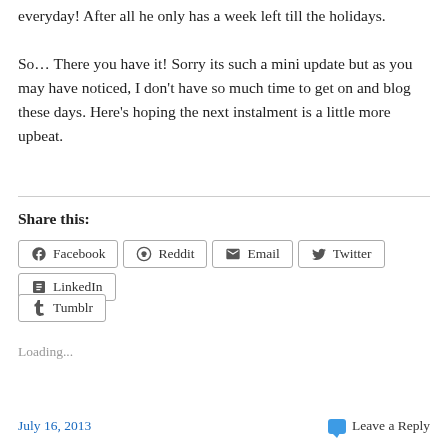everyday! After all he only has a week left till the holidays.
So… There you have it! Sorry its such a mini update but as you may have noticed, I don't have so much time to get on and blog these days. Here's hoping the next instalment is a little more upbeat.
Share this:
Facebook Reddit Email Twitter LinkedIn Tumblr
Loading...
July 16, 2013    Leave a Reply